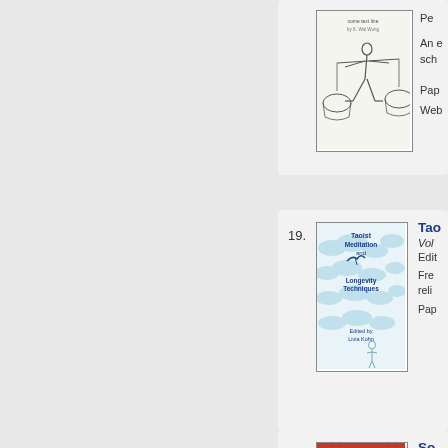[Figure (illustration): Book cover showing a figure carrying two baskets on a pole, with Chinese-style illustration; top portion visible]
Pe...
An e... sch...
Pap...
Web...
19.
[Figure (illustration): Book cover: Taoist Meditation and Longevity Techniques, light blue with cloud and figure design, Edited by Livia Kohn]
Tao...
Vol... Edit...
Fre... reli...
Pap...
20.
[Figure (illustration): Book cover: Social Organization in South China, 1911-1949, red cover with title text]
So...
The... Vol...